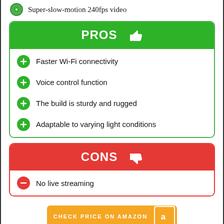Super-slow-motion 240fps video
PROS 👍
Faster Wi-Fi connectivity
Voice control function
The build is sturdy and rugged
Adaptable to varying light conditions
CONS 👎
No live streaming
CHECK PRICE ON AMAZON